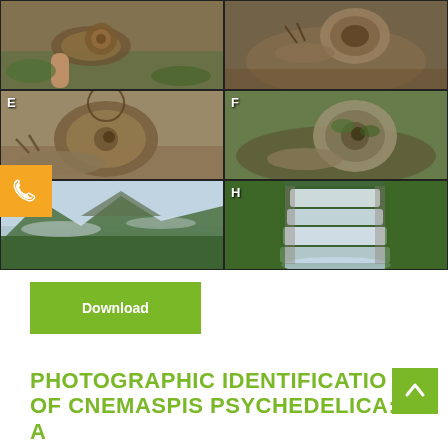[Figure (photo): 6-panel photo grid showing snails (labeled E, F, H) and landscape/waterfall scenes. Top row: two snail/nature photos. Middle row: E - large snail on rock, F - snail on mossy surface. Bottom row: mountain forest landscape, H - waterfall in forest.]
Download
PHOTOGRAPHIC IDENTIFICATION OF CNEMASPIS PSYCHEDELICA: A